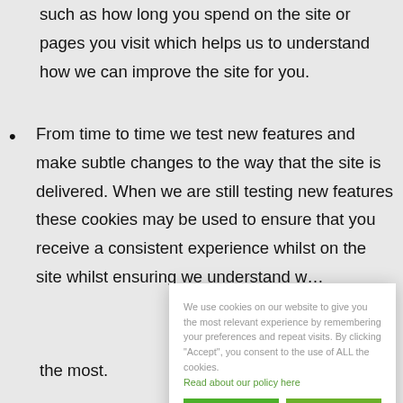such as how long you spend on the site or pages you visit which helps us to understand how we can improve the site for you.
From time to time we test new features and make subtle changes to the way that the site is delivered. When we are still testing new features these cookies may be used to ensure that you receive a consistent experience whilst on the site whilst ensuring we understand w… the most.
As we sell pr… statistics abo… actually make… of data that th…
to you as it means that we can accurately make…
[Figure (other): Cookie consent popup banner with text: We use cookies on our website to give you the most relevant experience by remembering your preferences and repeat visits. By clicking "Accept", you consent to the use of ALL the cookies. Read about our policy here. Buttons: ACCEPT, REJECT]